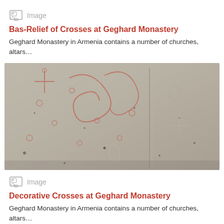[Figure (photo): Partial top view of a stone relief with carved patterns at Geghard Monastery, Armenia]
Image
Bas-Relief of Crosses at Geghard Monastery
Geghard Monastery in Armenia contains a number of churches, altars…
[Figure (photo): Close-up photo of decorative bas-relief stone carving showing crosses and floral vine patterns at Geghard Monastery, Armenia]
Image
Decorative Crosses at Geghard Monastery
Geghard Monastery in Armenia contains a number of churches, altars…